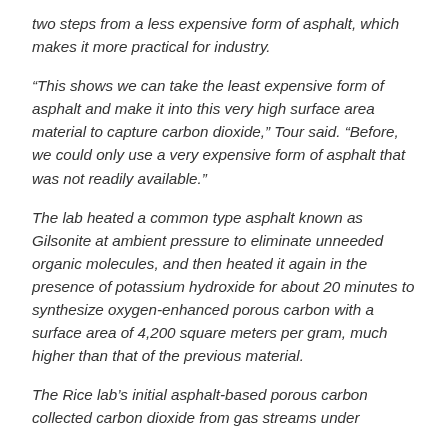two steps from a less expensive form of asphalt, which makes it more practical for industry.
“This shows we can take the least expensive form of asphalt and make it into this very high surface area material to capture carbon dioxide,” Tour said. “Before, we could only use a very expensive form of asphalt that was not readily available.”
The lab heated a common type asphalt known as Gilsonite at ambient pressure to eliminate unneeded organic molecules, and then heated it again in the presence of potassium hydroxide for about 20 minutes to synthesize oxygen-enhanced porous carbon with a surface area of 4,200 square meters per gram, much higher than that of the previous material.
The Rice lab’s initial asphalt-based porous carbon collected carbon dioxide from gas streams under